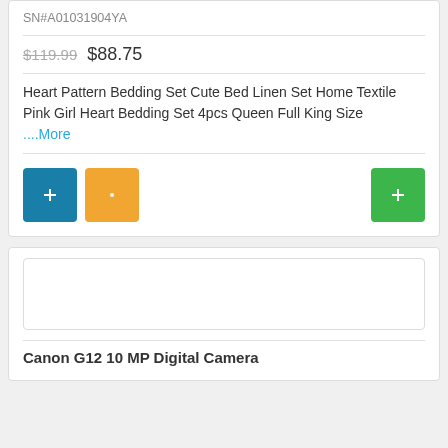SN#A01031904YA
$119.99 $88.75
Heart Pattern Bedding Set Cute Bed Linen Set Home Textile Pink Girl Heart Bedding Set 4pcs Queen Full King Size ....More
[Figure (screenshot): Three buttons: teal/blue square icon button, orange square icon button, and green square icon button on right]
[Figure (photo): Empty image placeholder box]
Canon G12 10 MP Digital Camera